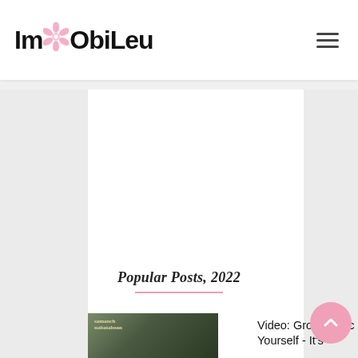ImObiLeu
[Figure (screenshot): Large white/blank advertisement area in the center of the page]
Popular Posts, 2022
[Figure (photo): Small thumbnail image of a book/video cover related to growing garlic]
Video: Grow Garlic Yourself - It's